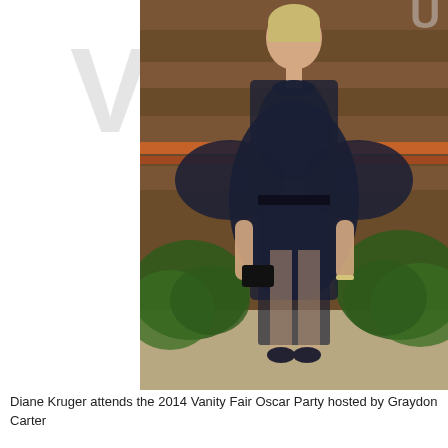[Figure (photo): Diane Kruger wearing a black lace semi-sheer outfit with cape sleeves and holding a dark clutch bag, standing in front of a wood panel wall with fern plants at the 2014 Vanity Fair Oscar Party]
Diane Kruger attends the 2014 Vanity Fair Oscar Party hosted by Graydon Carter